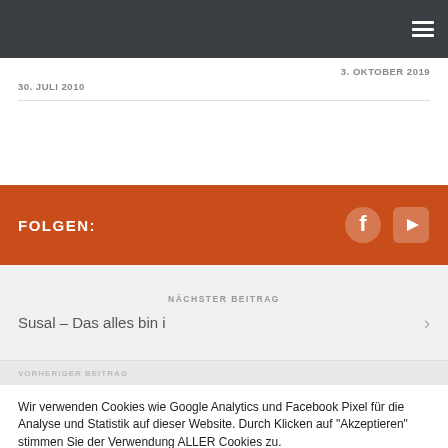3. OKTOBER 2019
30. JULI 2010
FOLGEN:
[Figure (illustration): Facebook and YouTube social media icons in white on orange background]
NÄCHSTER BEITRAG
Susal – Das alles bin i
VORHERIGER BEITRAG
Wir verwenden Cookies wie Google Analytics und Facebook Pixel für die Analyse und Statistik auf dieser Website. Durch Klicken auf "Akzeptieren" stimmen Sie der Verwendung ALLER Cookies zu.
Cookie settings
AKZEPTIEREN